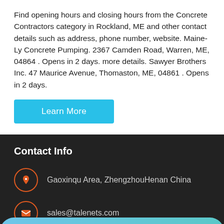Find opening hours and closing hours from the Concrete Contractors category in Rockland, ME and other contact details such as address, phone number, website. Maine-Ly Concrete Pumping. 2367 Camden Road, Warren, ME, 04864 . Opens in 2 days. more details. Sawyer Brothers Inc. 47 Maurice Avenue, Thomaston, ME, 04861 . Opens in 2 days.
Learn More
Contact Info
Gaoxinqu Area, ZhengzhouHenan China
sales@talenets.com
MAIL   ADVISORY   OFFER